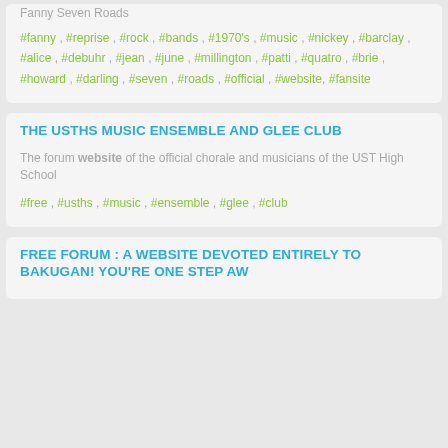Fanny Seven Roads
#fanny , #reprise , #rock , #bands , #1970's , #music , #nickey , #barclay , #alice , #debuhr , #jean , #june , #millington , #patti , #quatro , #brie , #howard , #darling , #seven , #roads , #official , #website, #fansite
THE USTHS MUSIC ENSEMBLE AND GLEE CLUB
The forum website of the official chorale and musicians of the UST High School
#free , #usths , #music , #ensemble , #glee , #club
FREE FORUM : A WEBSITE DEVOTED ENTIRELY TO BAKUGAN! YOU'RE ONE STEP AW